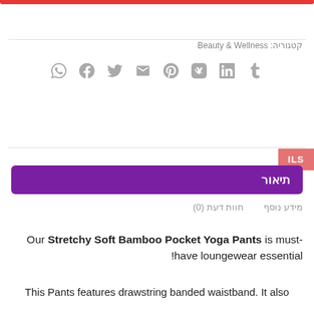Red bar at top
קטגוריה: Beauty & Wellness
[Figure (other): Social sharing icons row: Tumblr, LinkedIn, VK, Pinterest, Email, Twitter, Facebook, WhatsApp]
ILS
תיאור
מידע נוסף
חוות דעת (0)
Our Stretchy Soft Bamboo Pocket Yoga Pants is must-have loungewear essential!
This Pants features drawstring banded waistband. It also